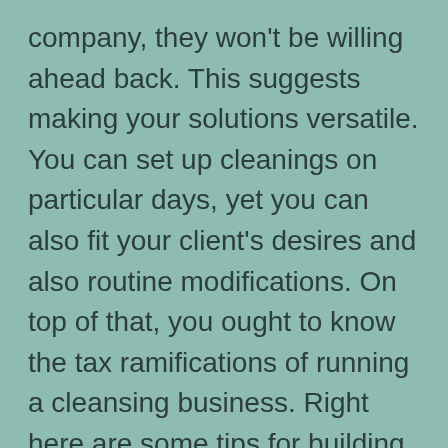company, they won't be willing ahead back. This suggests making your solutions versatile. You can set up cleanings on particular days, yet you can also fit your client's desires and also routine modifications. On top of that, you ought to know the tax ramifications of running a cleansing business. Right here are some tips for building a positive track record.
Rates – Prior to hiring a cleaning company, you ought to recognize the series of costs for various services. A lot of expert firms supply various prices alternatives. You need to pick a price that fits your spending plan. The business